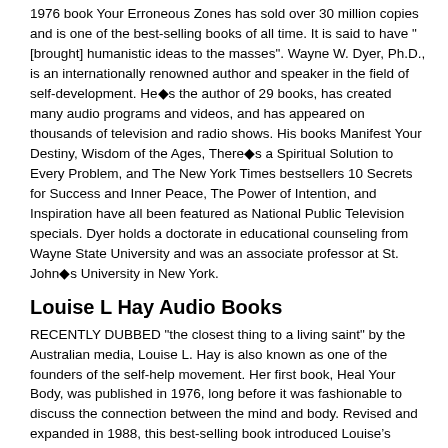1976 book Your Erroneous Zones has sold over 30 million copies and is one of the best-selling books of all time. It is said to have "[brought] humanistic ideas to the masses". Wayne W. Dyer, Ph.D., is an internationally renowned author and speaker in the field of self-development. He◆s the author of 29 books, has created many audio programs and videos, and has appeared on thousands of television and radio shows. His books Manifest Your Destiny, Wisdom of the Ages, There◆s a Spiritual Solution to Every Problem, and The New York Times bestsellers 10 Secrets for Success and Inner Peace, The Power of Intention, and Inspiration have all been featured as National Public Television specials. Dyer holds a doctorate in educational counseling from Wayne State University and was an associate professor at St. John◆s University in New York.
Louise L Hay Audio Books
RECENTLY DUBBED "the closest thing to a living saint" by the Australian media, Louise L. Hay is also known as one of the founders of the self-help movement. Her first book, Heal Your Body, was published in 1976, long before it was fashionable to discuss the connection between the mind and body. Revised and expanded in 1988, this best-selling book introduced Louise’s concepts to people in 33 different countries and has been translated into 25 languages throughout the world.
Jon Kabat-Zinn Audio Books - Mindfulness Meditation
Jon Kabat-Zinn, Ph.D., is a scientist, writer, and meditation teacher engaged in bringing mindfulness into the mainstream of medicine and society. He gives public talks and workshops throughout the world on mindfulness and its applications for moving toward greater sanity and balance in today’s multitasking, high-speed world. He is professor of medicine emeritus at the University of Massachusetts Medical School, where he was founding executive director of the Center for Mindfulness in Medicine, Health Care, and Society, and founder and former director of its world-renowned Stress Reduction Clinic. He is the author of Full Catastrophe Living: Using the Wisdom of Your Body and Mind to Face Stress, Pain and Illness Wherever You Go, There You Are: Mindfulness Meditation